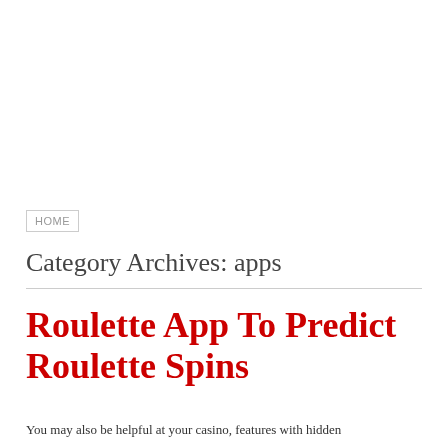HOME
Category Archives: apps
Roulette App To Predict Roulette Spins
You may also be helpful at your casino, features with hidden...